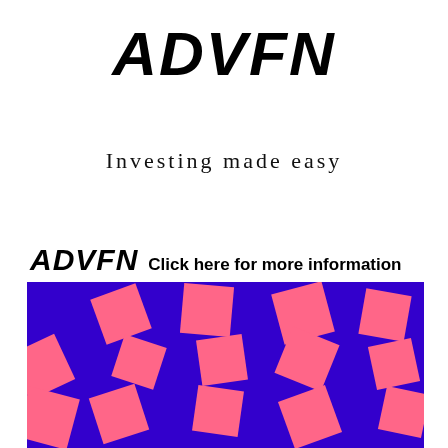ADVFN
Investing made easy
ADVFN Click here for more information
[Figure (illustration): Blue background with scattered pink/salmon rotated squares in various sizes and orientations, forming a decorative pattern banner for ADVFN advertisement.]